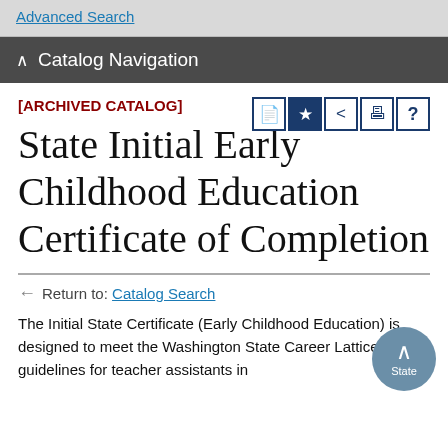Advanced Search
∧  Catalog Navigation
[ARCHIVED CATALOG]
State Initial Early Childhood Education Certificate of Completion
← Return to: Catalog Search
The Initial State Certificate (Early Childhood Education) is designed to meet the Washington State Career Lattice guidelines for teacher assistants in